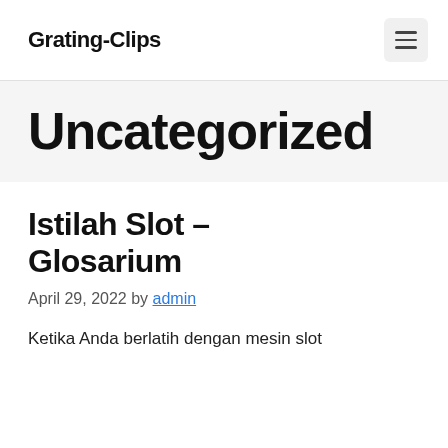Grating-Clips
Uncategorized
Istilah Slot – Glosarium
April 29, 2022 by admin
Ketika Anda berlatih dengan mesin slot